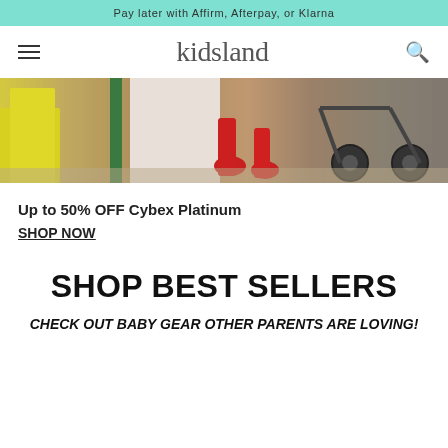Pay later with Affirm, Afterpay, or Klarna
kidsland
[Figure (photo): Partial view of a person wearing red boots standing near a stroller on an outdoor surface]
Up to 50% OFF Cybex Platinum
SHOP NOW
SHOP BEST SELLERS
CHECK OUT BABY GEAR OTHER PARENTS ARE LOVING!